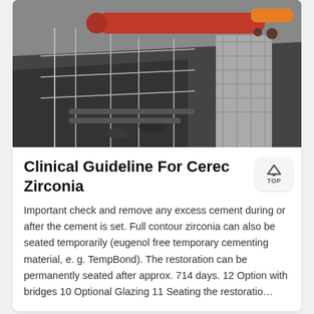[Figure (photo): Aerial construction site photo showing heavy machinery (orange/red cylindrical drill or pipe), scaffolding, excavation area, and workers]
Clinical Guideline For Cerec Zirconia
Important check and remove any excess cement during or after the cement is set. Full contour zirconia can also be seated temporarily (eugenol free temporary cementing material, e. g. TempBond). The restoration can be permanently seated after approx. 714 days. 12 Option with bridges 10 Optional Glazing 11 Seating the restoratio…
[Figure (illustration): Customer service chat bar with female avatar/headset agent, orange Message button, and Online Chat button with chat icon]